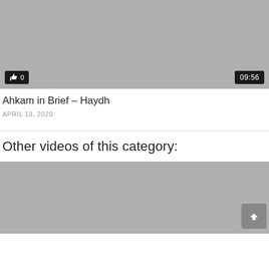[Figure (screenshot): Video thumbnail placeholder - grey rectangle with like badge showing thumbs up icon and '0', and time badge showing '09:56']
Ahkam in Brief – Haydh
APRIL 13, 2020
Other videos of this category:
[Figure (screenshot): Second video thumbnail placeholder - grey rectangle with scroll-to-top button in bottom right corner]